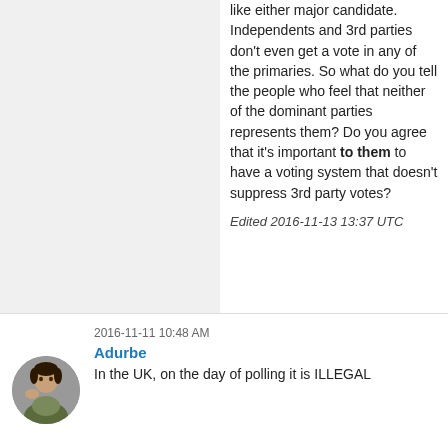like either major candidate. Independents and 3rd parties don't even get a vote in any of the primaries. So what do you tell the people who feel that neither of the dominant parties represents them? Do you agree that it's important to them to have a voting system that doesn't suppress 3rd party votes?
Edited 2016-11-13 13:37 UTC
2016-11-11 10:48 AM
Adurbe
In the UK, on the day of polling it is ILLEGAL